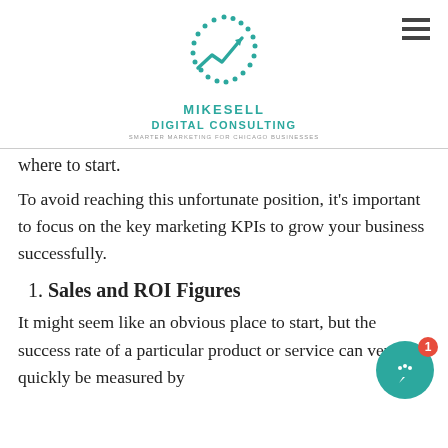[Figure (logo): Mikesell Digital Consulting logo with teal circle of dots, upward arrow chart icon, and company name/tagline]
where to start.
To avoid reaching this unfortunate position, it's important to focus on the key marketing KPIs to grow your business successfully.
1. Sales and ROI Figures
It might seem like an obvious place to start, but the success rate of a particular product or service can very quickly be measured by